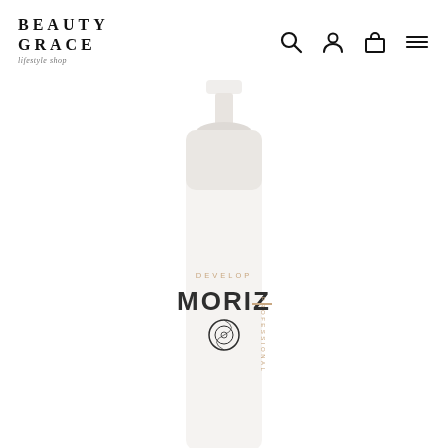[Figure (logo): Beauty Grace lifestyle shop logo — two lines of uppercase serif text with italic cursive subtitle]
[Figure (infographic): Navigation icons: search (magnifying glass), account (person silhouette), cart (shopping bag), menu (hamburger three lines)]
[Figure (photo): Moriz Professional Develop tanning foam pump bottle, white bottle partially cropped, shown from the top half downward on a white background]